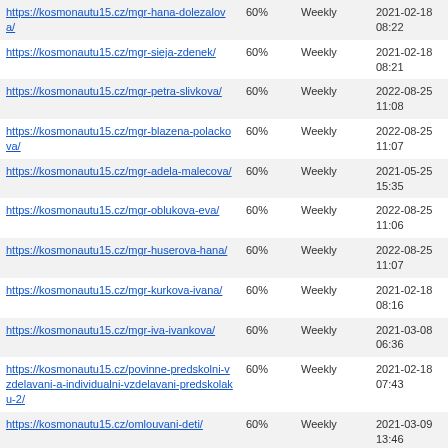| URL | Priority | Change Frequency | Last Modified |
| --- | --- | --- | --- |
| https://kosmonautu15.cz/mgr-hana-dolezalova/ | 60% | Weekly | 2021-02-18 08:22 |
| https://kosmonautu15.cz/mgr-sieja-zdenek/ | 60% | Weekly | 2021-02-18 08:21 |
| https://kosmonautu15.cz/mgr-petra-slivkova/ | 60% | Weekly | 2022-08-25 11:08 |
| https://kosmonautu15.cz/mgr-blazena-polackova/ | 60% | Weekly | 2022-08-25 11:07 |
| https://kosmonautu15.cz/mgr-adela-malecova/ | 60% | Weekly | 2021-05-25 15:35 |
| https://kosmonautu15.cz/mgr-oblukova-eva/ | 60% | Weekly | 2022-08-25 11:06 |
| https://kosmonautu15.cz/mgr-huserova-hana/ | 60% | Weekly | 2022-08-25 11:07 |
| https://kosmonautu15.cz/mgr-kurkova-ivana/ | 60% | Weekly | 2021-02-18 08:16 |
| https://kosmonautu15.cz/mgr-iva-ivankova/ | 60% | Weekly | 2021-03-08 06:36 |
| https://kosmonautu15.cz/povinne-predskolni-vzdelavani-a-individualni-vzdelavani-predskolaku-2/ | 60% | Weekly | 2021-02-18 07:43 |
| https://kosmonautu15.cz/omlouvani-deti/ | 60% | Weekly | 2021-03-09 13:46 |
| https://kosmonautu15.cz/skolni-poradenske-pracoviste/logopedicka-pece/ | 60% | Weekly | 2021-09-22 08:04 |
| https://kosmonautu15.cz/srps/ | 60% | Weekly | 2021-02-04 12:43 |
| https://kosmonautu15.cz/dokumenty-a-tiskopisy-2/ | 60% | Weekly | 2021-09-30 08:37 |
| https://kosmonautu15.cz/skolni-jidelna-ms/ | 60% | Weekly | 2022-08-21 14:02 |